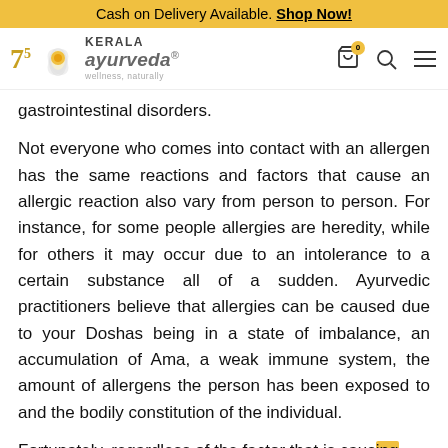Cash on Delivery Available. Shop Now!
[Figure (logo): Kerala Ayurveda logo with 75th anniversary badge, lotus flower, brand name and tagline 'wellness, naturally']
gastrointestinal disorders.
Not everyone who comes into contact with an allergen has the same reactions and factors that cause an allergic reaction also vary from person to person. For instance, for some people allergies are heredity, while for others it may occur due to an intolerance to a certain substance all of a sudden. Ayurvedic practitioners believe that allergies can be caused due to your Doshas being in a state of imbalance, an accumulation of Ama, a weak immune system, the amount of allergens the person has been exposed to and the bodily constitution of the individual.
Fortunately, regardless of the factor that is causing allergies in a person, Ayurvedic therapies can help relieve